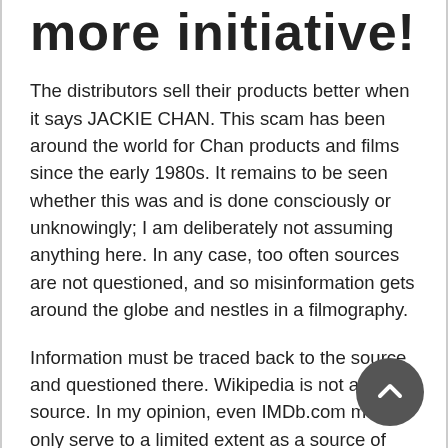more initiative!
The distributors sell their products better when it says JACKIE CHAN. This scam has been around the world for Chan products and films since the early 1980s. It remains to be seen whether this was and is done consciously or unknowingly; I am deliberately not assuming anything here. In any case, too often sources are not questioned, and so misinformation gets around the globe and nestles in a filmography.
Information must be traced back to the source and questioned there. Wikipedia is not a source. In my opinion, even IMDb.com may only serve to a limited extent as a source of information about films, because the system is not really easy to maintain. This is where the professionals are in demand. Mike Leeder, Ric Meyers, Bey Logan, the distributors themselves, who have the contacts. Make more of the beloved fan projects, the potential and knowledge is there!